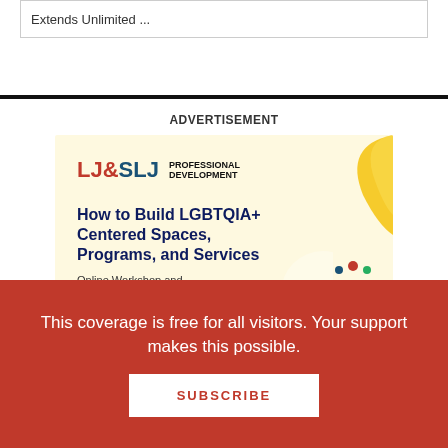Extends Unlimited ...
[Figure (illustration): LJ&SLJ Professional Development advertisement banner with headline 'How to Build LGBTQIA+ Centered Spaces, Programs, and Services' and subtext 'Online Workshop and Guest Speaker Program']
ADVERTISEMENT
This coverage is free for all visitors. Your support makes this possible.
SUBSCRIBE